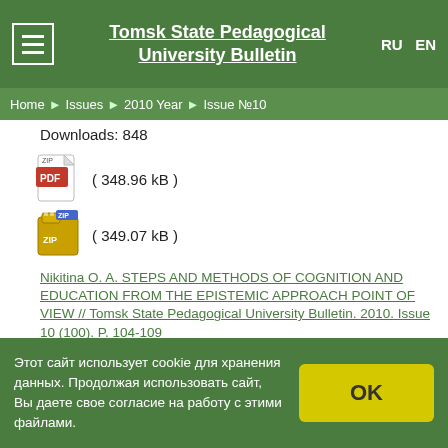Tomsk State Pedagogical University Bulletin
Home ▶ Issues ▶ 2010 Year ▶ Issue №10
Downloads: 848
[Figure (other): PDF file icon with label ( 348.96 kB )]
[Figure (other): ZIP archive icon with label ( 349.07 kB )]
Nikitina O. A. STEPS AND METHODS OF COGNITION AND EDUCATION FROM THE EPISTEMIC APPROACH POINT OF VIEW // Tomsk State Pedagogical University Bulletin. 2010. Issue 10 (100). P. 104-109
Downloads: 737
[Figure (other): PDF file icon with label ( 351.72 kB )]
Этот сайт использует cookie для хранения данных. Продолжая использовать сайт, Вы даете свое согласие на работу с этими файлами.